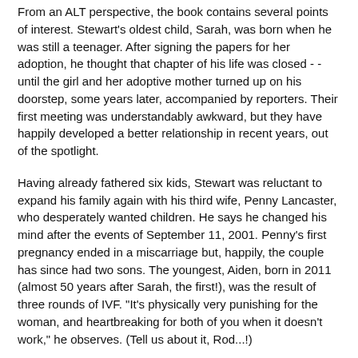From an ALT perspective, the book contains several points of interest. Stewart's oldest child, Sarah, was born when he was still a teenager. After signing the papers for her adoption, he thought that chapter of his life was closed - - until the girl and her adoptive mother turned up on his doorstep, some years later, accompanied by reporters. Their first meeting was understandably awkward, but they have happily developed a better relationship in recent years, out of the spotlight.
Having already fathered six kids, Stewart was reluctant to expand his family again with his third wife, Penny Lancaster, who desperately wanted children. He says he changed his mind after the events of September 11, 2001. Penny's first pregnancy ended in a miscarriage but, happily, the couple has since had two sons. The youngest, Aiden, born in 2011 (almost 50 years after Sarah, the first!), was the result of three rounds of IVF. "It's physically very punishing for the woman, and heartbreaking for both of you when it doesn't work," he observes. (Tell us about it, Rod...!)
*** *** ***